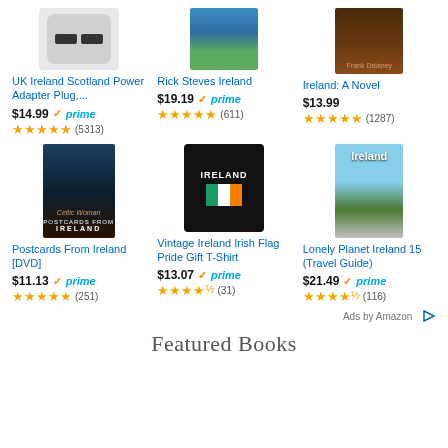[Figure (photo): UK Ireland Scotland Power Adapter Plug product image]
UK Ireland Scotland Power Adapter Plug,...
$14.99 prime
★★★★★ (5313)
[Figure (photo): Rick Steves Ireland book cover]
Rick Steves Ireland
$19.19 prime
★★★★★ (611)
[Figure (photo): Ireland: A Novel by Frank Delaney book cover]
Ireland: A Novel
$13.99
★★★★½ (1287)
[Figure (photo): Postcards From Ireland DVD cover - Celtic Woman]
Postcards From Ireland [DVD]
$11.13 prime
★★★★★ (251)
[Figure (photo): Vintage Ireland Irish Flag Pride Gift T-Shirt - black shirt with Ireland flag]
Vintage Ireland Irish Flag Pride Gift T-Shirt
$13.07 prime
★★★★½ (31)
[Figure (photo): Lonely Planet Ireland 15 Travel Guide book cover]
Lonely Planet Ireland 15 (Travel Guide)
$21.49 prime
★★★★½ (116)
Ads by Amazon
Featured Books